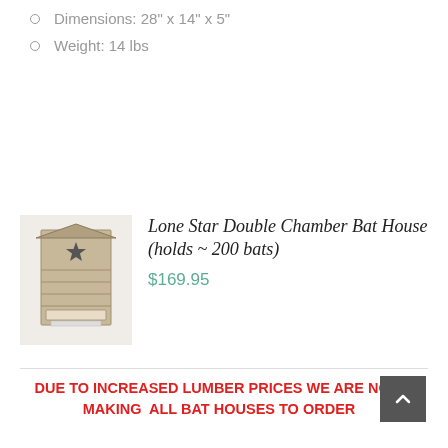Dimensions:  28" x 14" x 5"
Weight: 14 lbs
[Figure (photo): Wooden bat house with star decoration - Lone Star Double Chamber Bat House]
Lone Star Double Chamber Bat House (holds ~ 200 bats)
$169.95
DUE TO INCREASED LUMBER PRICES WE ARE NOW MAKING  ALL BAT HOUSES TO ORDER
PLEASE ALLOW 10-14 DAYS PLUS